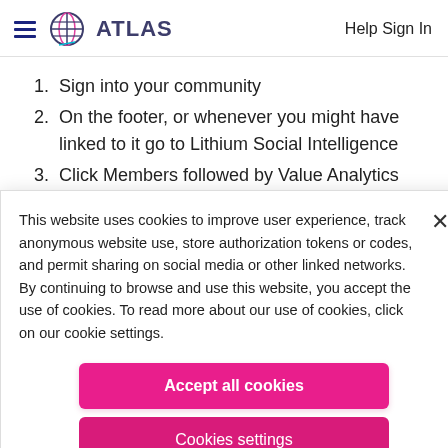ATLAS   Help Sign In
1. Sign into your community
2. On the footer, or whenever you might have linked to it go to Lithium Social Intelligence
3. Click Members followed by Value Analytics
This website uses cookies to improve user experience, track anonymous website use, store authorization tokens or codes, and permit sharing on social media or other linked networks. By continuing to browse and use this website, you accept the use of cookies. To read more about our use of cookies, click on our cookie settings.
Accept all cookies
Cookies settings
One question, when you said "The ones I have is